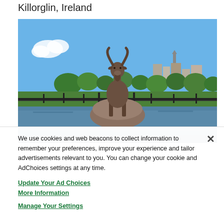Killorglin, Ireland
[Figure (photo): Photograph of a bronze goat statue on a large rock pedestal, surrounded by iron railings beside a river, with green trees and town buildings in the background under a blue sky. Killorglin, Ireland.]
We use cookies and web beacons to collect information to remember your preferences, improve your experience and tailor advertisements relevant to you. You can change your cookie and AdChoices settings at any time.
Update Your Ad Choices
More Information
Manage Your Settings